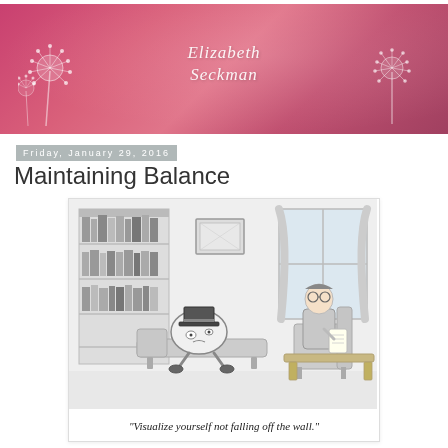Elizabeth Seckman
Friday, January 29, 2016
Maintaining Balance
[Figure (illustration): Humpty Dumpty character wearing a top hat lying on a therapy couch in a psychiatrist's office. A bespectacled doctor sits in a chair across from him holding a notepad. Bookshelves fill the background on the left, a window with curtains on the right, and a framed picture on the wall. Below the illustration: caption text.]
"Visualize yourself not falling off the wall."